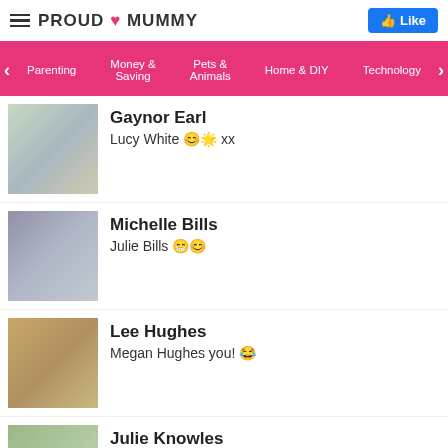PROUD MUMMY
Parenting | Money & Saving | Pets & Animals | Home & DIY | Technology
Gaynor Earl
Lucy White 😊 xx
Michelle Bills
Julie Bills 😁😊
Lee Hughes
Megan Hughes you! 😂
Julie Knowles
Imogen Knowles 😊😊😊
Christine Hughes
Clare Eaton🌸🌸🌸